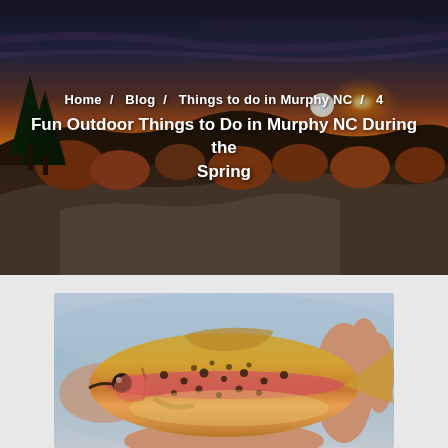[Figure (photo): Scenic mountain sunset landscape with pine trees, rocky terrain, autumn foliage, and orange/golden sky with sun on the horizon. Serves as hero banner background.]
Home / Blog / Things to do in Murphy NC / 4 Fun Outdoor Things to Do in Murphy NC During the Spring
[Figure (photo): Close-up photo of a rainbow trout fish being held in human hands, showing the fish's golden-brown body with dark spots and pink stripe along its side.]